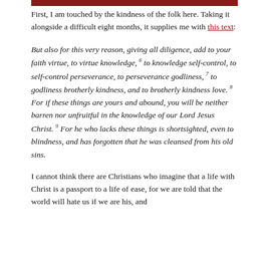[Figure (other): Dark red/maroon horizontal bar at the top of the content area]
First, I am touched by the kindness of the folk here. Taking it alongside a difficult eight months, it supplies me with this text:
But also for this very reason, giving all diligence, add to your faith virtue, to virtue knowledge, 6 to knowledge self-control, to self-control perseverance, to perseverance godliness, 7 to godliness brotherly kindness, and to brotherly kindness love. 8 For if these things are yours and abound, you will be neither barren nor unfruitful in the knowledge of our Lord Jesus Christ. 9 For he who lacks these things is shortsighted, even to blindness, and has forgotten that he was cleansed from his old sins.
I cannot think there are Christians who imagine that a life with Christ is a passport to a life of ease, for we are told that the world will hate us if we are his, and